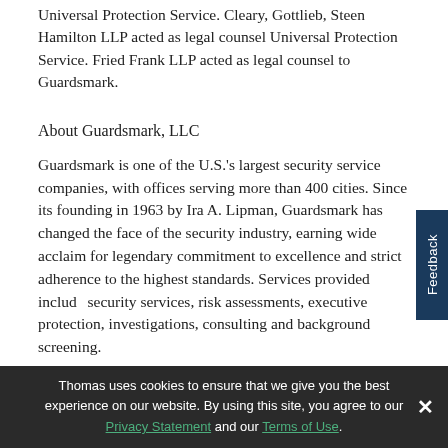Universal Protection Service. Cleary, Gottlieb, Steen Hamilton LLP acted as legal counsel Universal Protection Service. Fried Frank LLP acted as legal counsel to Guardsmark.
About Guardsmark, LLC
Guardsmark is one of the U.S.'s largest security service companies, with offices serving more than 400 cities. Since its founding in 1963 by Ira A. Lipman, Guardsmark has changed the face of the security industry, earning wide acclaim for legendary commitment to excellence and strict adherence to the highest standards. Services provided include security services, risk assessments, executive protection, investigations, consulting and background screening.
Thomas uses cookies to ensure that we give you the best experience on our website. By using this site, you agree to our Privacy Statement and our Terms of Use.